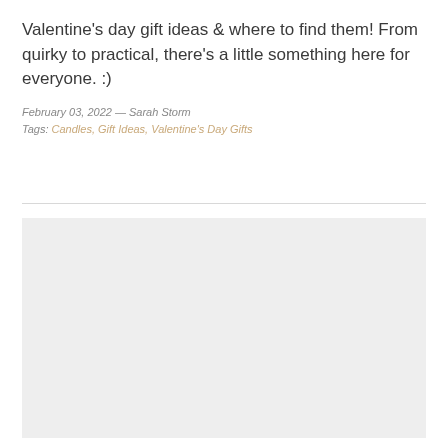Valentine's day gift ideas & where to find them! From quirky to practical, there's a little something here for everyone. :)
February 03, 2022 — Sarah Storm
Tags: Candles, Gift Ideas, Valentine's Day Gifts
[Figure (photo): Large light grey image placeholder rectangle below a horizontal divider line]